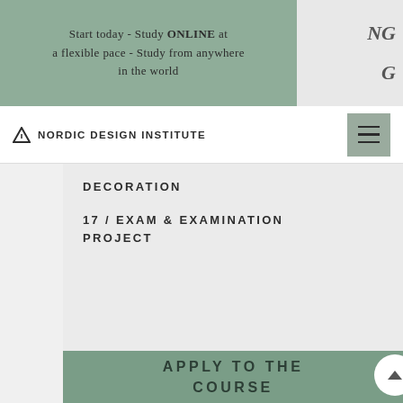Start today - Study ONLINE at a flexible pace - Study from anywhere in the world
NORDIC DESIGN INSTITUTE
DECORATION
17 / EXAM & EXAMINATION PROJECT
APPLY TO THE COURSE